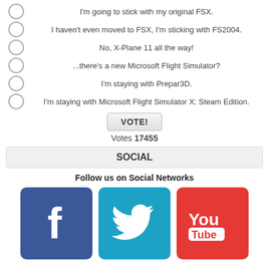I'm going to stick with my original FSX.
I haven't even moved to FSX, I'm sticking with FS2004.
No, X-Plane 11 all the way!
...there's a new Microsoft Flight Simulator?
I'm staying with Prepar3D.
I'm staying with Microsoft Flight Simulator X: Steam Edition.
VOTE!
Votes 17455
SOCIAL
Follow us on Social Networks
[Figure (logo): Facebook, Twitter, and YouTube social media icons]